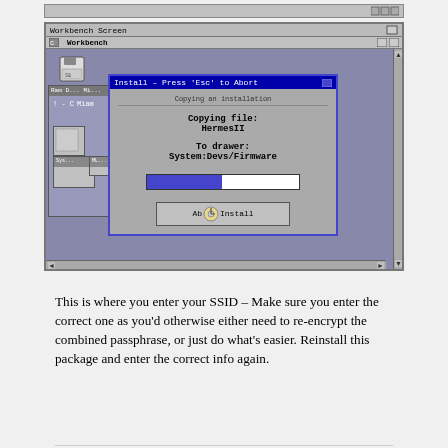[Figure (screenshot): Amiga Workbench screen showing an Install dialog box with 'Install – Press Esc to Abort' title, displaying 'Copying file: HermesII' and 'To drawer: System:Devs/Firmware' with a progress bar about halfway filled and an 'Abort Install' button.]
This is where you enter your SSID – Make sure you enter the correct one as you'd otherwise either need to re-encrypt the combined passphrase, or just do what's easier. Reinstall this package and enter the correct info again.